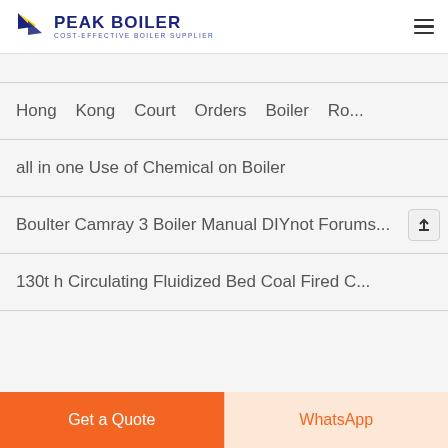PEAK BOILER COST-EFFECTIVE BOILER SUPPLIER
Hong Kong Court Orders Boiler Ro...
all in one Use of Chemical on Boiler
Boulter Camray 3 Boiler Manual DIYnot Forums...
130t h Circulating Fluidized Bed Coal Fired C...
Get a Quote
WhatsApp